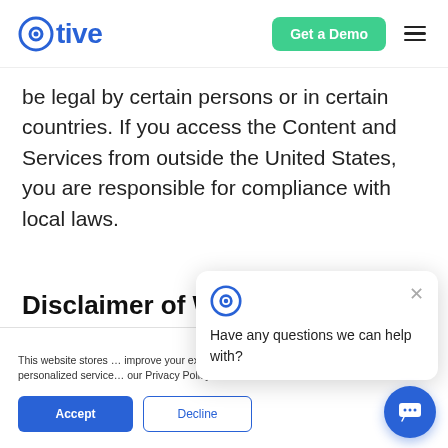Otive — Get a Demo
be legal by certain persons or in certain countries. If you access the Content and Services from outside the United States, you are responsible for compliance with local laws.
Disclaimer of Warranties
This website stores … improve your experi … personalized service … our Privacy Policy.
Have any questions we can help with?